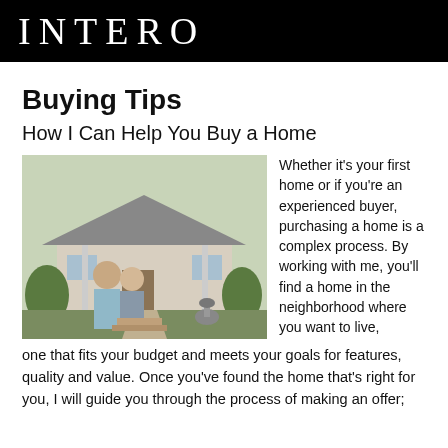INTERO
Buying Tips
How I Can Help You Buy a Home
[Figure (photo): A smiling couple, a man and a woman, standing in front of a house with a porch and garden.]
Whether it's your first home or if you're an experienced buyer, purchasing a home is a complex process. By working with me, you'll find a home in the neighborhood where you want to live, one that fits your budget and meets your goals for features, quality and value. Once you've found the home that's right for you, I will guide you through the process of making an offer;